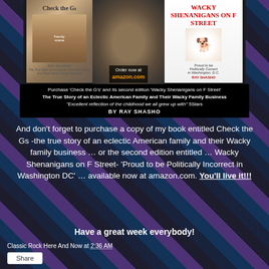[Figure (photo): Book cover collage banner showing 'Check the Gs' book cover, author photo with 'Order now at amazon.com', and 'Wacky Shenanigans on F Street' book cover with a dog wearing a hat]
Purchase 'Check the G's' and its second edition 'Wacky Shenanigans on F Street' The True Story of an Eclectic American Family and Their Wacky Family Business "Excellent reflection of the childhood we all grew up with" 5Stars BY RAY SHASHO
And don’t forget to purchase a copy of my book entitled Check the Gs -the true story of an eclectic American family and their Wacky family business … or the second edition entitled … Wacky Shenanigans on F Street- ‘Proud to be Politically Incorrect in Washington DC’ … available now at amazon.com. You'll live it!!!
Have a great week everybody!
Classic Rock Here And Now at 2:36 AM
Share